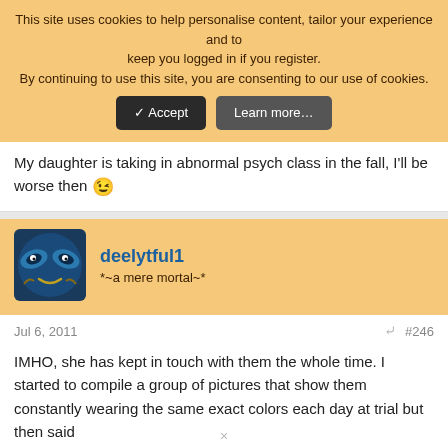This site uses cookies to help personalise content, tailor your experience and to keep you logged in if you register. By continuing to use this site, you are consenting to our use of cookies.
My daughter is taking in abnormal psych class in the fall, I'll be worse then 😉
deelytful1
*~a mere mortal~*
Jul 6, 2011   #246
IMHO, she has kept in touch with them the whole time. I started to compile a group of pictures that show them constantly wearing the same exact colors each day at trial but then said